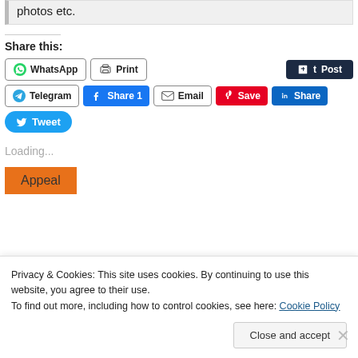photos etc.
Share this:
WhatsApp | Print | Post | Telegram | Share 1 | Email | Save | Share | Tweet
Loading...
Appeal
Privacy & Cookies: This site uses cookies. By continuing to use this website, you agree to their use.
To find out more, including how to control cookies, see here: Cookie Policy
Close and accept